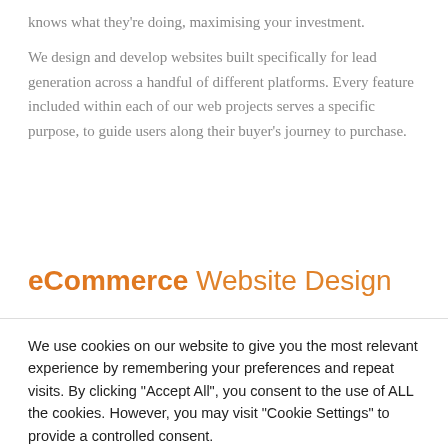knows what they're doing, maximising your investment.
We design and develop websites built specifically for lead generation across a handful of different platforms. Every feature included within each of our web projects serves a specific purpose, to guide users along their buyer's journey to purchase.
eCommerce Website Design
We use cookies on our website to give you the most relevant experience by remembering your preferences and repeat visits. By clicking "Accept All", you consent to the use of ALL the cookies. However, you may visit "Cookie Settings" to provide a controlled consent.